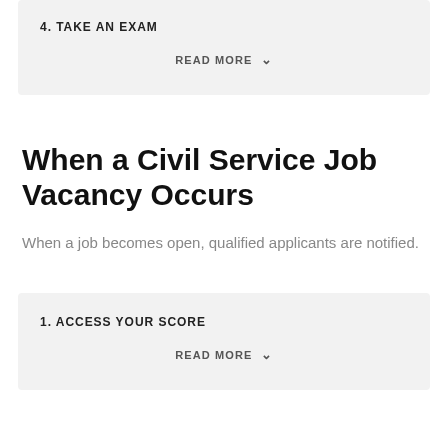4. TAKE AN EXAM
READ MORE
When a Civil Service Job Vacancy Occurs
When a job becomes open, qualified applicants are notified.
1. ACCESS YOUR SCORE
READ MORE